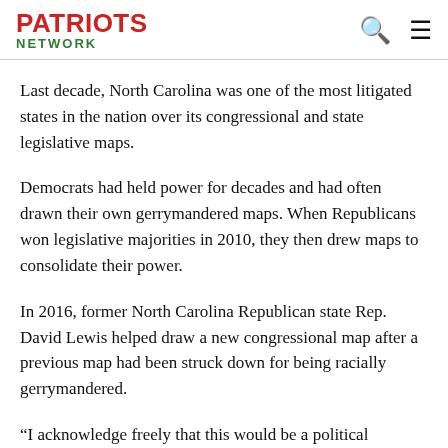PATRIOTS NETWORK
Last decade, North Carolina was one of the most litigated states in the nation over its congressional and state legislative maps.
Democrats had held power for decades and had often drawn their own gerrymandered maps. When Republicans won legislative majorities in 2010, they then drew maps to consolidate their power.
In 2016, former North Carolina Republican state Rep. David Lewis helped draw a new congressional map after a previous map had been struck down for being racially gerrymandered.
“I acknowledge freely that this would be a political